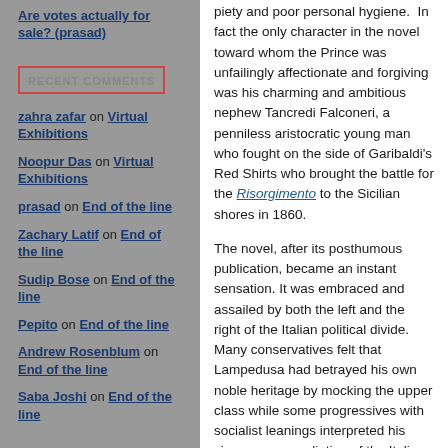Are votes actually for sale? (prasad)
RECENT COMMENTS
zahra zafar on Virtual Exhibitions
Noopur Das on Virtual Exhibitions
prasad on End of the line
Zachary Latif on End of the line
Sudip Bose on End of the line
Pepito on End of the line
Andrew Rosenblum on End of the line
Saba Joshi on End of the line
piety and poor personal hygiene.  In fact the only character in the novel toward whom the Prince was unfailingly affectionate and forgiving was his charming and ambitious nephew Tancredi Falconeri, a penniless aristocratic young man who fought on the side of Garibaldi's Red Shirts who brought the battle for the Risorgimento to the Sicilian shores in 1860.
The novel, after its posthumous publication, became an instant sensation. It was embraced and assailed by both the left and the right of the Italian political divide. Many conservatives felt that Lampedusa had betrayed his own noble heritage by mocking the upper class while some progressives with socialist leanings interpreted his views as a repudiation of the Italian unification. Many prominent leftist Italian writers